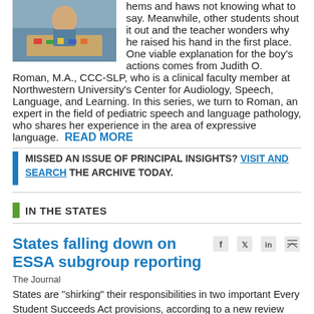[Figure (photo): Child sitting at a table with colorful objects, classroom setting]
hems and haws not knowing what to say. Meanwhile, other students shout it out and the teacher wonders why he raised his hand in the first place. One viable explanation for the boy's actions comes from Judith O. Roman, M.A., CCC-SLP, who is a clinical faculty member at Northwestern University's Center for Audiology, Speech, Language, and Learning. In this series, we turn to Roman, an expert in the field of pediatric speech and language pathology, who shares her experience in the area of expressive language.  READ MORE
MISSED AN ISSUE OF PRINCIPAL INSIGHTS? VISIT AND SEARCH THE ARCHIVE TODAY.
IN THE STATES
States falling down on ESSA subgroup reporting
The Journal
States are "shirking" their responsibilities in two important Every Student Succeeds Act provisions, according to a new review...